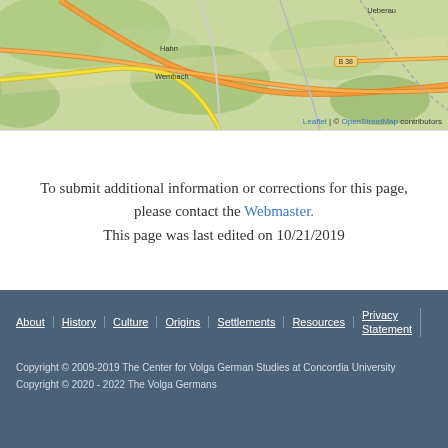[Figure (map): OpenStreetMap map showing area around Hahn and Wembach with road B38, place names Ueberau, Hahn, Wembach visible. Attribution: Leaflet | © OpenStreetMap contributors]
To submit additional information or corrections for this page, please contact the Webmaster.
This page was last edited on 10/21/2019
About | History | Culture | Origins | Settlements | Resources | Privacy Statement
Copyright © 2009-2019 The Center for Volga German Studies at Concordia University
Copyright © 2020 - 2022 The Volga Germans